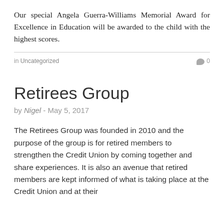Our special Angela Guerra-Williams Memorial Award for Excellence in Education will be awarded to the child with the highest scores.
in Uncategorized   0
Retirees Group
by Nigel - May 5, 2017
The Retirees Group was founded in 2010 and the purpose of the group is for retired members to strengthen the Credit Union by coming together and share experiences. It is also an avenue that retired members are kept informed of what is taking place at the Credit Union and at their